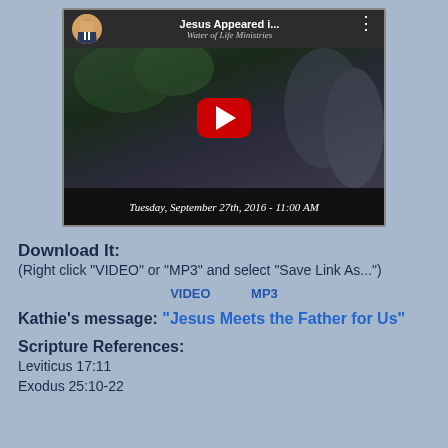[Figure (screenshot): YouTube video thumbnail showing 'Jesus Appeared i...' title, Water of Life Ministries subtitle, a red play button, and text 'Tuesday, September 27th, 2016 - 11:00 AM']
Download It:
(Right click "VIDEO" or "MP3" and select "Save Link As...")
VIDEO    MP3
Kathie's message: "Jesus Meets the Father for Us"
Scripture References:
Leviticus 17:11
Exodus 25:10-22